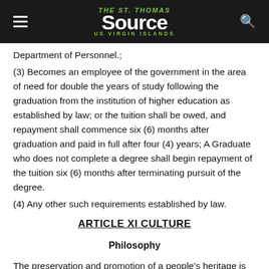The St. Thomas Source — US Virgin Islands
Department of Personnel.;
(3) Becomes an employee of the government in the area of need for double the years of study following the graduation from the institution of higher education as established by law; or the tuition shall be owed, and repayment shall commence six (6) months after graduation and paid in full after four (4) years; A Graduate who does not complete a degree shall begin repayment of the tuition six (6) months after terminating pursuit of the degree.
(4) Any other such requirements established by law.
ARTICLE XI CULTURE
Philosophy
The preservation and promotion of a people's heritage is an